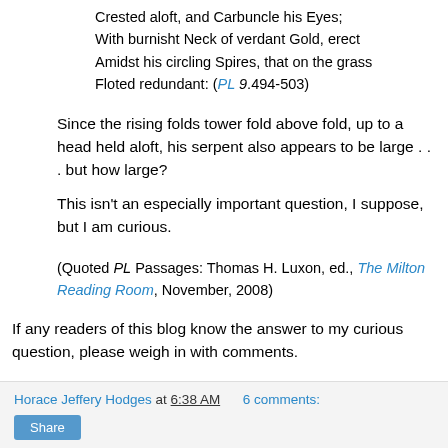Crested aloft, and Carbuncle his Eyes;
With burnisht Neck of verdant Gold, erect
Amidst his circling Spires, that on the grass
Floted redundant: (PL 9.494-503)
Since the rising folds tower fold above fold, up to a head held aloft, his serpent also appears to be large . . . but how large?
This isn't an especially important question, I suppose, but I am curious.
(Quoted PL Passages: Thomas H. Luxon, ed., The Milton Reading Room, November, 2008)
If any readers of this blog know the answer to my curious question, please weigh in with comments.
Horace Jeffery Hodges at 6:38 AM   6 comments:   Share